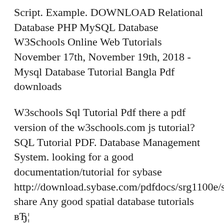Script. Example. DOWNLOAD Relational Database PHP MySQL Database W3Schools Online Web Tutorials November 17th, November 19th, 2018 - Mysql Database Tutorial Bangla Pdf downloads
W3schools Sql Tutorial Pdf there a pdf version of the w3schools.com js tutorial? SQL Tutorial PDF. Database Management System. looking for a good documentation/tutorial for sybase http://download.sybase.com/pdfdocs/srg1100e/sqln share Any good spatial database tutorials вЂ¦
Database Structure and Design Tutorial . What are your Database Many of the design choices you will make depend on which database management system you use. Dba Tutorial For